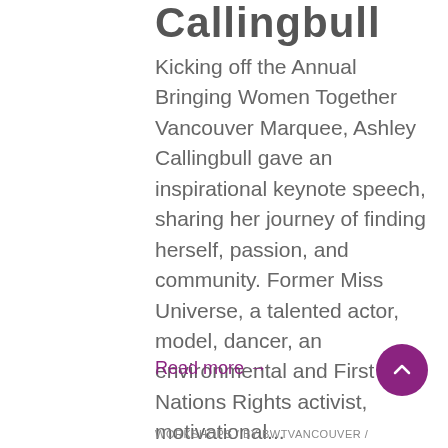Callingbull
Kicking off the Annual Bringing Women Together Vancouver Marquee, Ashley Callingbull gave an inspirational keynote speech, sharing her journey of finding herself, passion, and community. Former Miss Universe, a talented actor, model, dancer, an environmental and First Nations Rights activist, motivational...
Read more →
WORKSHOPS / BY BWTVANCOUVER /